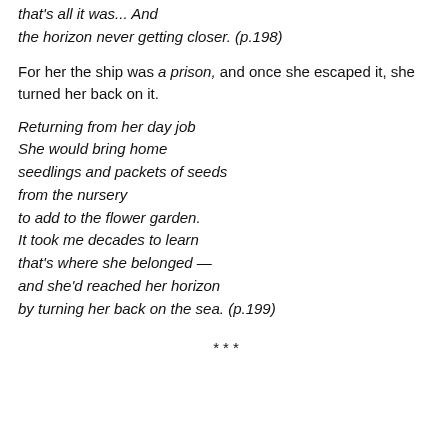that's all it was... And the horizon never getting closer. (p.198)
For her the ship was a prison, and once she escaped it, she turned her back on it.
Returning from her day job
She would bring home
seedlings and packets of seeds
from the nursery
to add to the flower garden.
It took me decades to learn
that's where she belonged —
and she'd reached her horizon
by turning her back on the sea. (p.199)
***